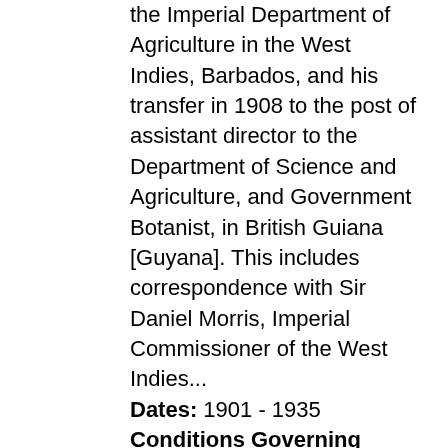the Imperial Department of Agriculture in the West Indies, Barbados, and his transfer in 1908 to the post of assistant director to the Department of Science and Agriculture, and Government Botanist, in British Guiana [Guyana]. This includes correspondence with Sir Daniel Morris, Imperial Commissioner of the West Indies...
Dates: 1901 - 1935
Conditions Governing Access: Unless restrictions apply, the collection is open for consultation by researchers using the